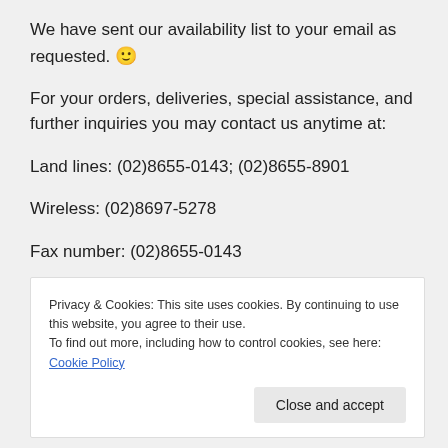We have sent our availability list to your email as requested. 🙂
For your orders, deliveries, special assistance, and further inquiries you may contact us anytime at:
Land lines: (02)8655-0143; (02)8655-8901
Wireless: (02)8697-5278
Fax number: (02)8655-0143
Mobile number: +639198249655;
Privacy & Cookies: This site uses cookies. By continuing to use this website, you agree to their use. To find out more, including how to control cookies, see here: Cookie Policy